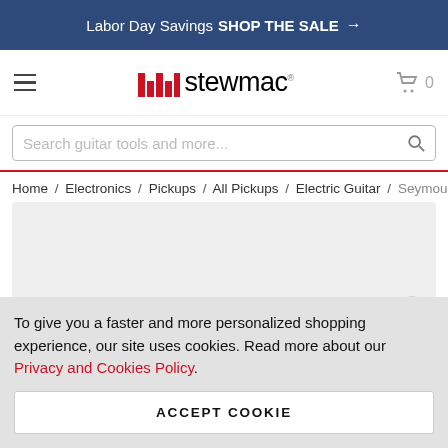Labor Day Savings SHOP THE SALE →
[Figure (logo): StewMac logo with red bar icon and wordmark stewmac]
Search guitar tools and more...
Home / Electronics / Pickups / All Pickups / Electric Guitar / Seymou
[Figure (photo): Product image placeholder area, light grey background]
To give you a faster and more personalized shopping experience, our site uses cookies. Read more about our Privacy and Cookies Policy.
ACCEPT COOKIE